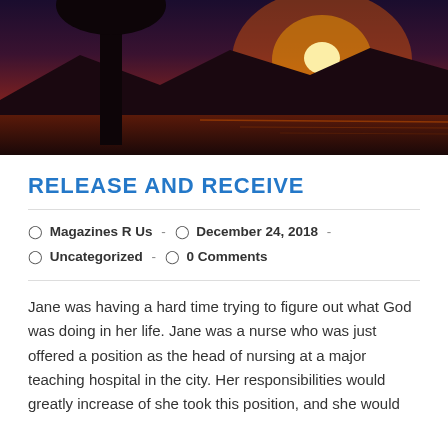[Figure (photo): Sunset landscape photo with silhouetted tree in foreground, glowing orange sun on horizon over mountains and water]
RELEASE AND RECEIVE
Magazines R Us  -  December 24, 2018  -  Uncategorized  -  0 Comments
Jane was having a hard time trying to figure out what God was doing in her life. Jane was a nurse who was just offered a position as the head of nursing at a major teaching hospital in the city. Her responsibilities would greatly increase of she took this position, and she would